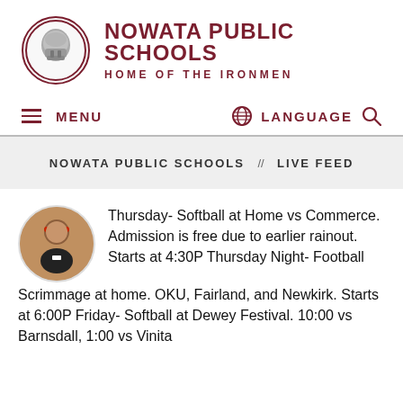[Figure (logo): Nowata Public Schools logo: circular emblem with a Spartan/Ironman helmet, dark red border, accompanied by school name text]
NOWATA PUBLIC SCHOOLS HOME OF THE IRONMEN
≡ MENU   🌐 LANGUAGE 🔍
NOWATA PUBLIC SCHOOLS // LIVE FEED
[Figure (photo): Circular avatar photo of a man wearing a black shirt and a red headband, outdoors near a red vehicle]
Thursday- Softball at Home vs Commerce. Admission is free due to earlier rainout. Starts at 4:30P Thursday Night- Football Scrimmage at home. OKU, Fairland, and Newkirk. Starts at 6:00P Friday- Softball at Dewey Festival. 10:00 vs Barnsdall, 1:00 vs Vinita